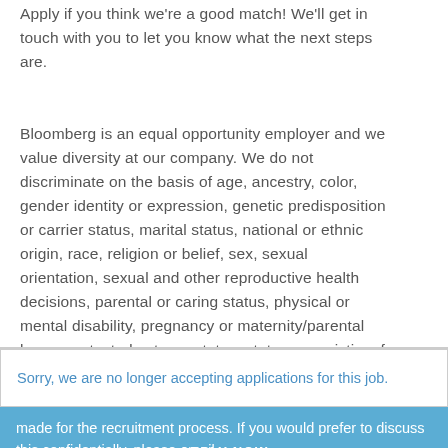Apply if you think we're a good match! We'll get in touch with you to let you know what the next steps are.
Bloomberg is an equal opportunity employer and we value diversity at our company. We do not discriminate on the basis of age, ancestry, color, gender identity or expression, genetic predisposition or carrier status, marital status, national or ethnic origin, race, religion or belief, sex, sexual orientation, sexual and other reproductive health decisions, parental or caring status, physical or mental disability, pregnancy or maternity/parental leave, protected veteran status, status as a victim of domestic violence, or any other classification protected by applicable law.
Sorry, we are no longer accepting applications for this job.
made for the recruitment process. If you would prefer to discuss this confidentially, please email
APPLY NOW